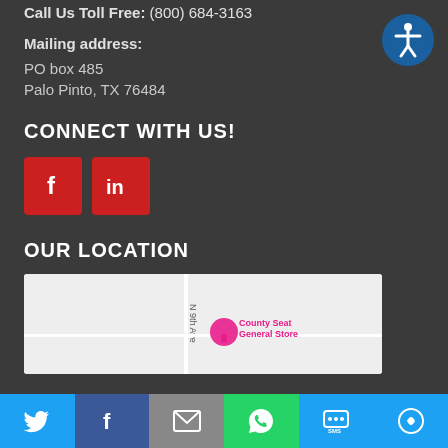Call Us Toll Free: (800) 684-3163
[Figure (illustration): Accessibility icon — white stick figure in a blue circle]
Mailing address:
PO box 485
Palo Pinto, TX 76484
CONNECT WITH US!
[Figure (illustration): Red Facebook button with white 'f' icon and red LinkedIn button with white 'in' icon]
OUR LOCATION
[Figure (map): Google Maps snippet showing N 9th Ave and County Seat General Store marker]
[Figure (illustration): Social media share bar at the bottom: Twitter, Facebook, Email, WhatsApp, SMS, More buttons]